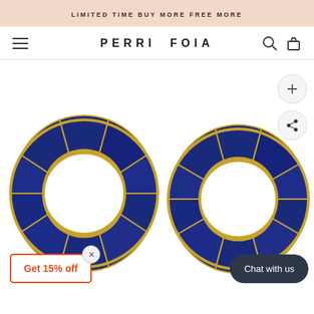LIMITED TIME BUY MORE FREE MORE
PERRI FOIA
[Figure (photo): Two circular gold earrings with dark blue lapis lazuli stone segments inlaid in a geometric grid pattern, shown side by side on white background]
Get 15% off
Chat with us